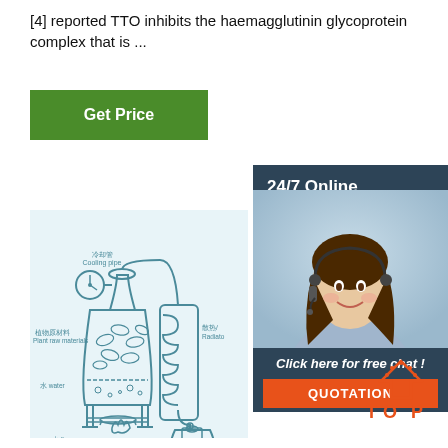[4] reported TTO inhibits the haemagglutinin glycoprotein complex that is ...
[Figure (other): Green 'Get Price' button]
[Figure (other): 24/7 Online chat widget with customer service representative photo, 'Click here for free chat!' text and orange QUOTATION button]
[Figure (schematic): Diagram of plant essential oil steam distillation apparatus with labeled components: 冷却管 Cooling pipe, 散热/Radiator, 植物原材料 Plant raw materials, 水 water, 火 fire, 纯露 Hydrosol]
[Figure (logo): TOP logo with orange house/arrow icon]